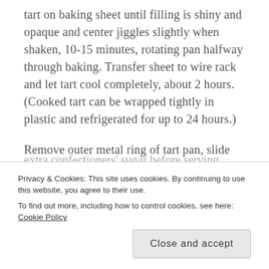tart on baking sheet until filling is shiny and opaque and center jiggles slightly when shaken, 10-15 minutes, rotating pan halfway through baking. Transfer sheet to wire rack and let tart cool completely, about 2 hours. (Cooked tart can be wrapped tightly in plastic and refrigerated for up to 24 hours.)
Remove outer metal ring of tart pan, slide thin metal spatula between tart and pan bottom, and carefully slide tart onto serving platter. Dust with extra confectioners' sugar before serving.
Privacy & Cookies: This site uses cookies. By continuing to use this website, you agree to their use.
To find out more, including how to control cookies, see here: Cookie Policy
Close and accept